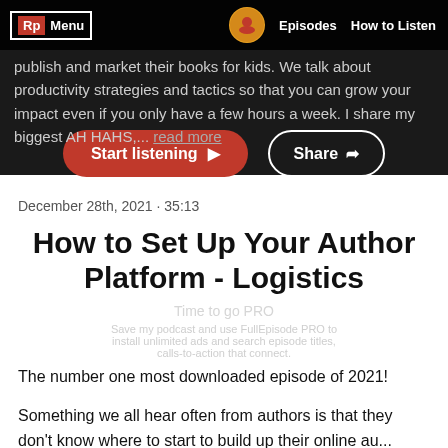publish and market their books for kids. We talk about productivity strategies and tactics so that you can grow your impact even if you only have a few hours a week. I share my biggest AH HAHS,... read more
[Figure (screenshot): Navigation bar with RP logo, Menu label inside a white border box, podcast icon, Episodes and How to Listen links on dark background]
[Figure (other): Start listening button (red, rounded) and Share button (white outline, rounded) on dark background]
December 28th, 2021 · 35:13
How to Set Up Your Author Platform - Logistics
Time to go PRO
The number one most downloaded episode of 2021!
Something we all hear often from authors is that they don't know where to start to build up their online au...